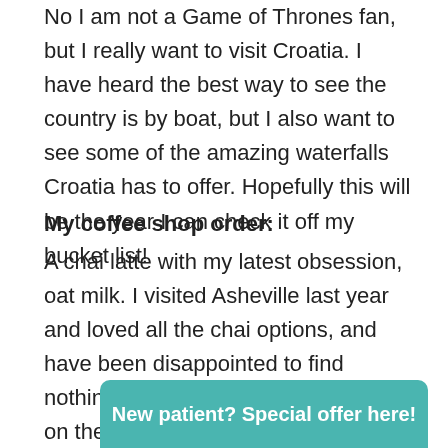No I am not a Game of Thrones fan, but I really want to visit Croatia. I have heard the best way to see the country is by boat, but I also want to see some of the amazing waterfalls Croatia has to offer. Hopefully this will be the year I can check it off my bucket list!
My coffee shop order:
A chai latte with my latest obsession, oat milk. I visited Asheville last year and loved all the chai options, and have been disappointed to find nothing comparable in our area. So on the weekends you can find me exploring the city on the hunt for the best, one coffee shop at a time. Got any recommendations?
New patient? Special offer here!